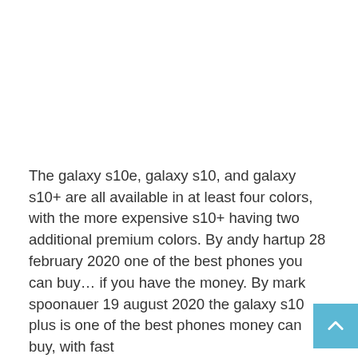The galaxy s10e, galaxy s10, and galaxy s10+ are all available in at least four colors, with the more expensive s10+ having two additional premium colors. By andy hartup 28 february 2020 one of the best phones you can buy… if you have the money. By mark spoonauer 19 august 2020 the galaxy s10 plus is one of the best phones money can buy, with fast